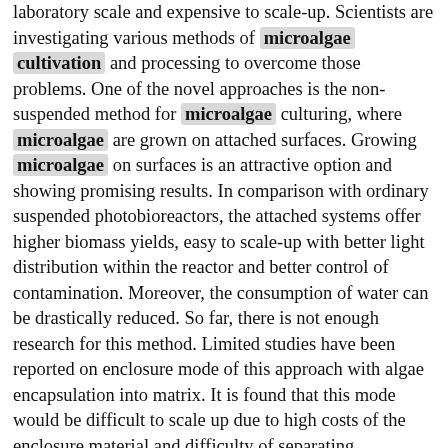laboratory scale and expensive to scale-up. Scientists are investigating various methods of microalgae cultivation and processing to overcome those problems. One of the novel approaches is the non-suspended method for microalgae culturing, where microalgae are grown on attached surfaces. Growing microalgae on surfaces is an attractive option and showing promising results. In comparison with ordinary suspended photobioreactors, the attached systems offer higher biomass yields, easy to scale-up with better light distribution within the reactor and better control of contamination. Moreover, the consumption of water can be drastically reduced. So far, there is not enough research for this method. Limited studies have been reported on enclosure mode of this approach with algae encapsulation into matrix. It is found that this mode would be difficult to scale up due to high costs of the enclosure material and difficulty of separating microalgae from matrix. Non-enclosure mode is more promising way of non-suspended cultivation . So far, no work has been carried out to conduct non-suspended culturing with the use of aeroterrestrial